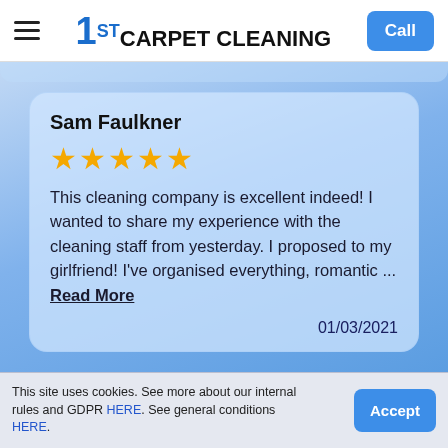1ST CARPET CLEANING — Call
[Figure (screenshot): Review card on blue gradient background showing a 5-star customer review by Sam Faulkner dated 01/03/2021]
Sam Faulkner
★★★★★
This cleaning company is excellent indeed! I wanted to share my experience with the cleaning staff from yesterday. I proposed to my girlfriend! I've organised everything, romantic ... Read More
01/03/2021
This site uses cookies. See more about our internal rules and GDPR HERE. See general conditions HERE. Accept